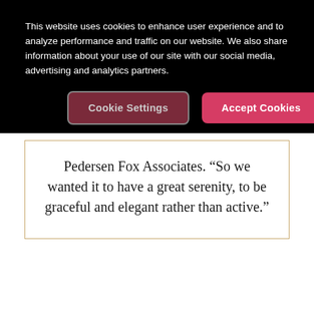This website uses cookies to enhance user experience and to analyze performance and traffic on our website. We also share information about your use of our site with our social media, advertising and analytics partners.
Cookie Settings | Accept Cookies
Pedersen Fox Associates. “So we wanted it to have a great serenity, to be graceful and elegant rather than active.”